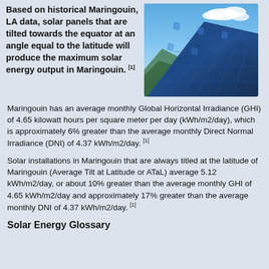Based on historical Maringouin, LA data, solar panels that are tilted towards the equator at an angle equal to the latitude will produce the maximum solar energy output in Maringouin. [1]
[Figure (photo): Photo of solar panels tilted at an angle against a blue sky with clouds and mountains in the background]
Maringouin has an average monthly Global Horizontal Irradiance (GHI) of 4.65 kilowatt hours per square meter per day (kWh/m2/day), which is approximately 6% greater than the average monthly Direct Normal Irradiance (DNI) of 4.37 kWh/m2/day. [1]
Solar installations in Maringouin that are always titled at the latitude of Maringouin (Average Tilt at Latitude or ATaL) average 5.12 kWh/m2/day, or about 10% greater than the average monthly GHI of 4.65 kWh/m2/day and approximately 17% greater than the average monthly DNI of 4.37 kWh/m2/day. [1]
Solar Energy Glossary